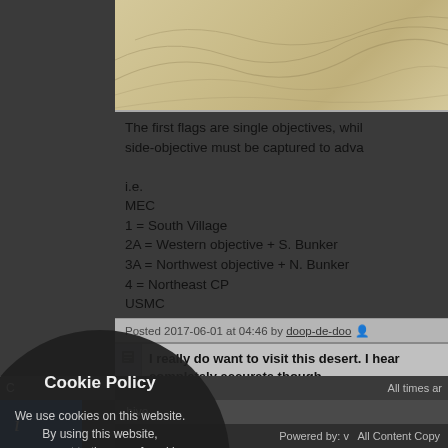[Figure (map): Partial view of a desert/terrain map with topographic lines and beige/tan coloring]
The first flags are single objectives, whi
side-objective must be captured to adva

i.e.
MEC
1 = South Village
2A = Western objective + S. Bunker
3A = Northwest objective + N. Bunker
4 = Northeast CP
USMC
Posted 2017-06-01 at 04:46 by doop-de-doo
I really do want to visit this desert. I hear
completely accurate though.
Posted 2022-04-20 at 19:05 by CarreyJim
All times are
chive
Powered by: v
All Content Copy
[Figure (infographic): Cookie Policy popup overlay — circular dark modal with title 'Cookie Policy', body text 'We use cookies on this website. By using this website, you consent to the use of cookies.', link 'Read more here', and close button with X]
[Figure (infographic): Blue info button at bottom left with italic i]